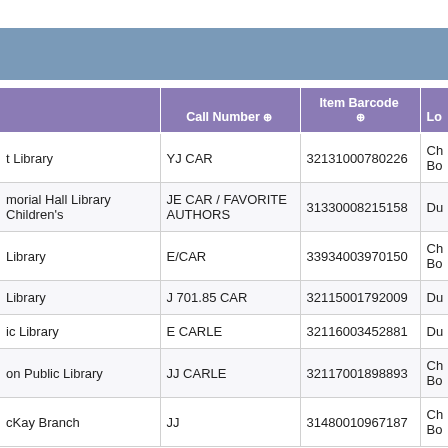|  | Call Number | Item Barcode | Lo |
| --- | --- | --- | --- |
| t Library | YJ CAR | 32131000780226 | Ch Bo |
| morial Hall Library Children's | JE CAR / FAVORITE AUTHORS | 31330008215158 | Du |
| Library | E/CAR | 33934003970150 | Ch Bo |
| Library | J 701.85 CAR | 32115001792009 | Du |
| ic Library | E CARLE | 32116003452881 | Du |
| on Public Library | JJ CARLE | 32117001898893 | Ch Bo |
| cKay Branch | JJ | 31480010967187 | Ch Bo |